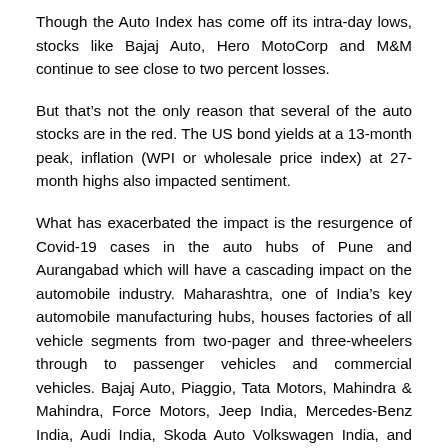Though the Auto Index has come off its intra-day lows, stocks like Bajaj Auto, Hero MotoCorp and M&M continue to see close to two percent losses.
But that's not the only reason that several of the auto stocks are in the red. The US bond yields at a 13-month peak, inflation (WPI or wholesale price index) at 27-month highs also impacted sentiment.
What has exacerbated the impact is the resurgence of Covid-19 cases in the auto hubs of Pune and Aurangabad which will have a cascading impact on the automobile industry. Maharashtra, one of India's key automobile manufacturing hubs, houses factories of all vehicle segments from two-pager and three-wheelers through to passenger vehicles and commercial vehicles. Bajaj Auto, Piaggio, Tata Motors, Mahindra & Mahindra, Force Motors, Jeep India, Mercedes-Benz India, Audi India, Skoda Auto Volkswagen India, and some EV OEMs like Jitendra EV Tech all have